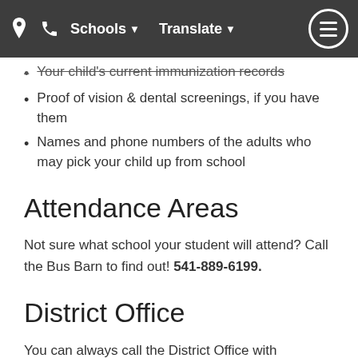Schools  Translate  ☰
Your child's current immunization records
Proof of vision & dental screenings, if you have them
Names and phone numbers of the adults who may pick your child up from school
Attendance Areas
Not sure what school your student will attend? Call the Bus Barn to find out! 541-889-6199.
District Office
You can always call the District Office with questions at 541-889-5374. If you know which school your student will be attending and have specific questions, feel free to give